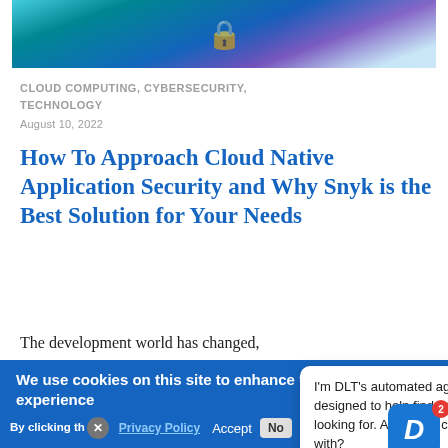[Figure (photo): Hero image with blue/teal cybersecurity themed graphic showing a lock icon]
CLOUD COMPUTING, CYBERSECURITY, TECHNOLOGY
August 10, 2022
How To Approach Cloud Native Application Security and Why Snyk is the Best Solution for Your Needs
The development world has changed,
We use cookies on this site to enhance your user experience
By clicking th... Privacy Policy
Accept  No...
I'm DLT's automated agent, designed to help find what you're looking for. Anything I can help with?